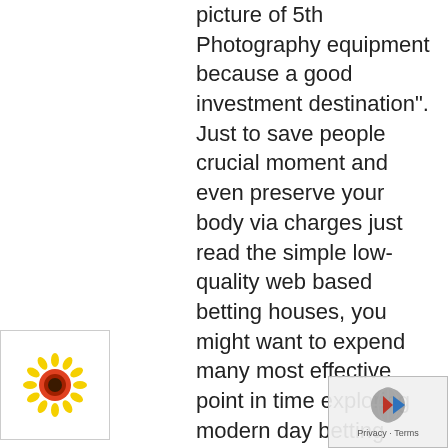picture of 5th Photography equipment because a good investment destination". Just to save people crucial moment and even preserve your body via charges just read the simple low-quality web based betting houses, you might want to expend many most effective point in time exploring modern day betting
[Figure (illustration): A colorful flower/sunflower icon with yellow petals, red/orange inner ring, and dark center, inside a white bordered box]
[Figure (logo): Google Maps/reCAPTCHA style icon with globe and blue/red arrow, with Privacy and Terms links below]